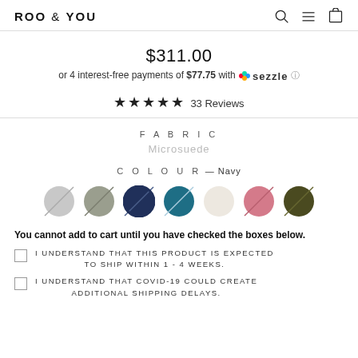ROO & YOU
$311.00
or 4 interest-free payments of $77.75 with Sezzle
★★★★★ 33 Reviews
FABRIC
Microsuede
COLOUR — Navy
[Figure (illustration): 7 color swatches in circles: light gray, sage gray, navy blue, teal blue, cream, pink, olive]
You cannot add to cart until you have checked the boxes below.
I UNDERSTAND THAT THIS PRODUCT IS EXPECTED TO SHIP WITHIN 1 - 4 WEEKS.
I UNDERSTAND THAT COVID-19 COULD CREATE ADDITIONAL SHIPPING DELAYS.